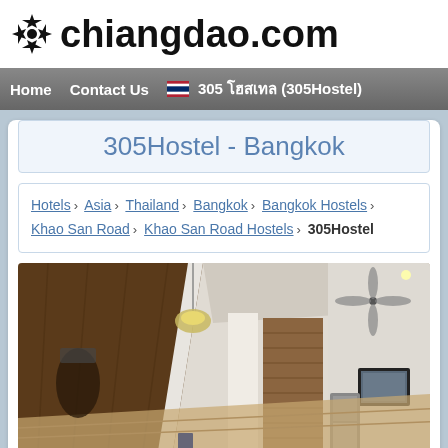chiangdao.com
Home  Contact Us  🇹🇭 305 โฮสเทล (305Hostel)
305Hostel - Bangkok
Hotels › Asia › Thailand › Bangkok › Bangkok Hostels › Khao San Road › Khao San Road Hostels › 305Hostel
[Figure (photo): Interior photo of 305Hostel Bangkok showing a lobby/common area with a large dark wooden panel wall at an angle, pendant lamp, ceiling fan, white walls, a small framed picture on the wall, and a refrigerator in the background.]